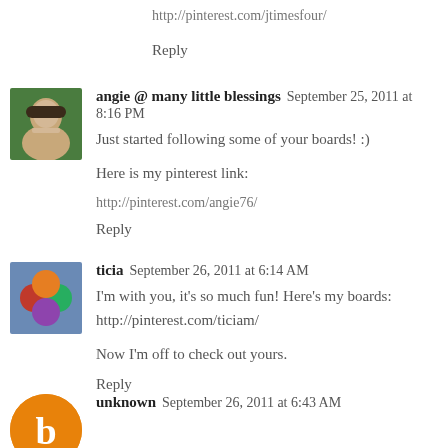http://pinterest.com/jtimesfour/
Reply
angie @ many little blessings  September 25, 2011 at 8:16 PM
Just started following some of your boards! :)
Here is my pinterest link:
http://pinterest.com/angie76/
Reply
ticia  September 26, 2011 at 6:14 AM
I'm with you, it's so much fun! Here's my boards: http://pinterest.com/ticiam/
Now I'm off to check out yours.
Reply
unknown  September 26, 2011 at 6:43 AM